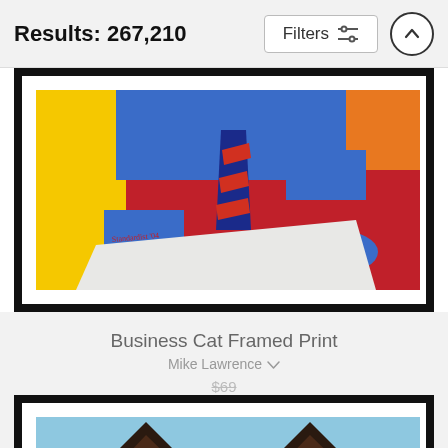Results: 267,210
[Figure (screenshot): Framed print of a painting showing a blue cartoon cat wearing a striped tie, sitting at a desk with papers, on a red and yellow background. The image is partially cropped at the top.]
Business Cat Framed Print
Mike Lawrence
$69 (strikethrough) $55
[Figure (photo): Partially visible framed print showing dark cat ears against a light blue sky background, cropped at the bottom of the page.]